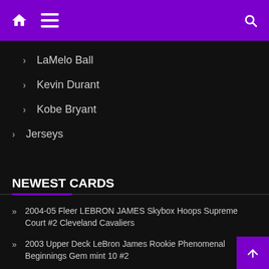Navigation header with home, menu, and search icons
LaMelo Ball
Kevin Durant
Kobe Bryant
Jerseys
NEWEST CARDS
2004-05 Fleer LEBRON JAMES Skybox Hoops Supreme Court #2 Cleveland Cavaliers
2003 Upper Deck LeBron James Rookie Phenomenal Beginnings Gem mint 10 #2
2019-20 Panini Mosaic Green MVPs LeBron James SP Cleveland Cavaliers Prizm 🔥